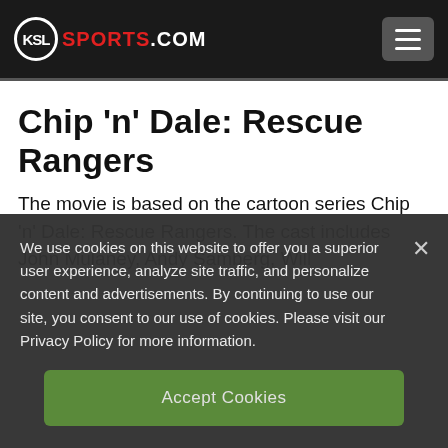KSL SPORTS.COM
Chip 'n' Dale: Rescue Rangers
The movie is based on the cartoon series Chip 'n' Dale: Rescue Rangers. The cast includes John Mulaney, Andy Samberg, Will
We use cookies on this website to offer you a superior user experience, analyze site traffic, and personalize content and advertisements. By continuing to use our site, you consent to our use of cookies. Please visit our Privacy Policy for more information.
Accept Cookies